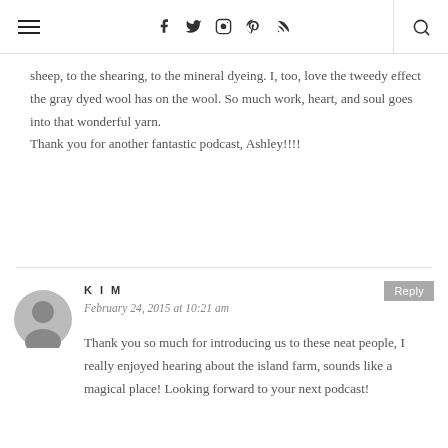Navigation header with hamburger menu, social icons (Facebook, Twitter, Instagram, Pinterest, RSS), and search
sheep, to the shearing, to the mineral dyeing. I, too, love the tweedy effect the gray dyed wool has on the wool. So much work, heart, and soul goes into that wonderful yarn.
Thank you for another fantastic podcast, Ashley!!!!
KIM
February 24, 2015 at 10:21 am
Reply
[Figure (illustration): Gray circular avatar placeholder icon for commenter Kim]
Thank you so much for introducing us to these neat people, I really enjoyed hearing about the island farm, sounds like a magical place! Looking forward to your next podcast!